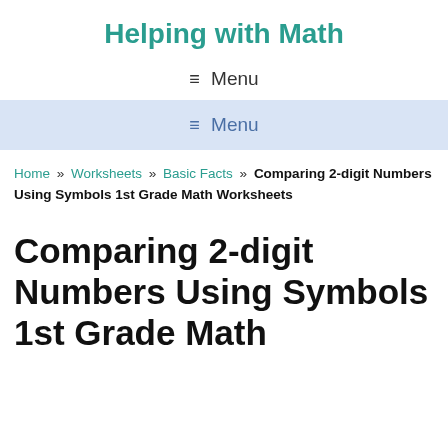Helping with Math
≡ Menu
≡ Menu
Home » Worksheets » Basic Facts » Comparing 2-digit Numbers Using Symbols 1st Grade Math Worksheets
Comparing 2-digit Numbers Using Symbols 1st Grade Math